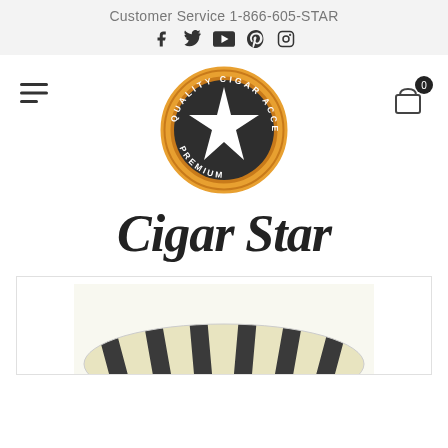Customer Service 1-866-605-STAR
[Figure (logo): Cigar Star logo: circular badge reading PREMIUM QUALITY CIGAR ACCESSORIES with a dark star emblem, and cursive text 'Cigar Star' below]
[Figure (photo): Product photo showing a cigar accessory with zebra-stripe pattern in yellow and dark grey/charcoal, partially visible at bottom of page]